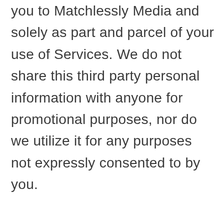you to Matchlessly Media and solely as part and parcel of your use of Services. We do not share this third party personal information with anyone for promotional purposes, nor do we utilize it for any purposes not expressly consented to by you.